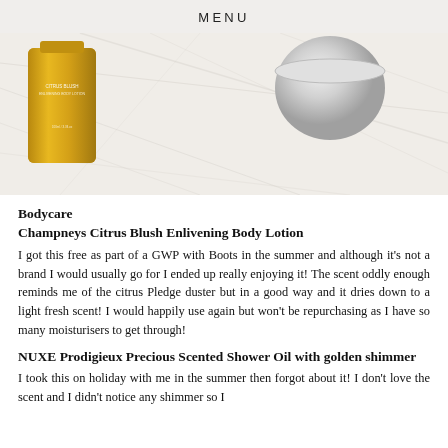MENU
[Figure (photo): A marble surface with a golden/yellow cylindrical body lotion bottle (Champneys Citrus Blush) on the left and a silver/chrome round container on the right.]
Bodycare
Champneys Citrus Blush Enlivening Body Lotion
I got this free as part of a GWP with Boots in the summer and although it's not a brand I would usually go for I ended up really enjoying it! The scent oddly enough reminds me of the citrus Pledge duster but in a good way and it dries down to a light fresh scent! I would happily use again but won't be repurchasing as I have so many moisturisers to get through!
NUXE Prodigieux Precious Scented Shower Oil with golden shimmer
I took this on holiday with me in the summer then forgot about it! I don't love the scent and I didn't notice any shimmer so I